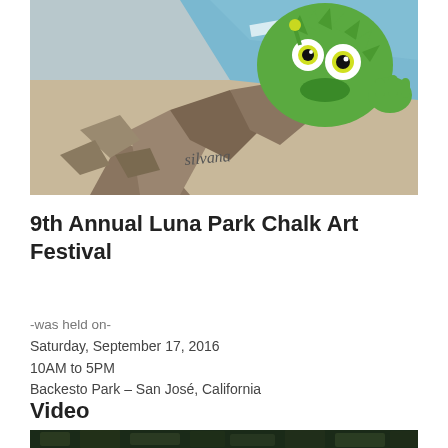[Figure (photo): Chalk art festival photo showing a 3D chalk drawing of a green fuzzy monster emerging from cracked pavement, signed 'Silvana']
9th Annual Luna Park Chalk Art Festival
-was held on-
Saturday, September 17, 2016
10AM to 5PM
Backesto Park – San José, California
Video
[Figure (photo): Bottom edge of a video thumbnail, showing dark green foliage]